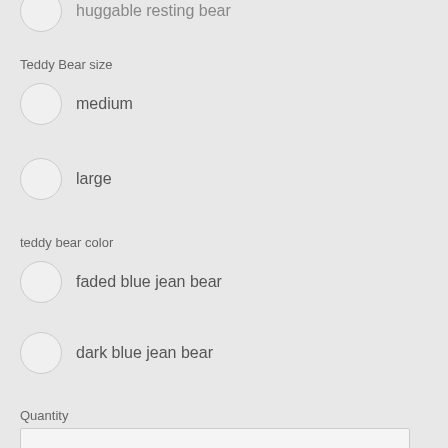huggable resting bear (partial, top of page)
Teddy Bear size
medium
large
teddy bear color
faded blue jean bear
dark blue jean bear
black denim bear
Quantity